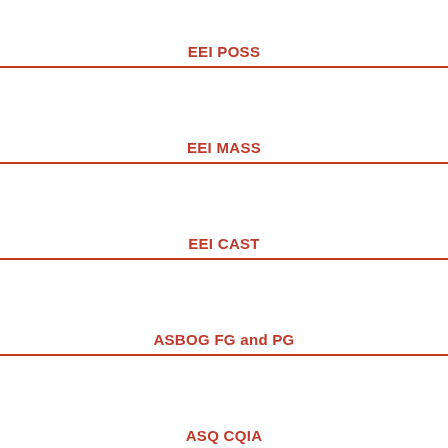EEI POSS
EEI MASS
EEI CAST
ASBOG FG and PG
ASQ CQIA